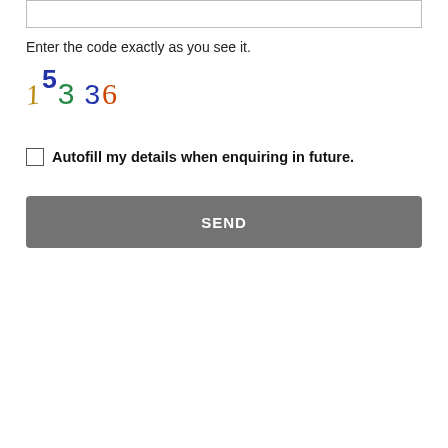[Figure (screenshot): Text input box (form field), empty, with gray border]
Enter the code exactly as you see it.
[Figure (other): CAPTCHA image showing distorted characters: 1 5 3 3 6 in various colors (gold italic 1, blue bold superscript 5, green 3, blue 3, red 6)]
Autofill my details when enquiring in future.
[Figure (other): SEND button, gray background, white uppercase text SEND]